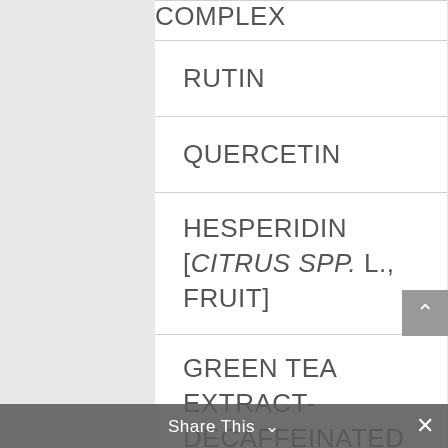| Ingredient | Amount |
| --- | --- |
| COMPLEX | 150 mg |
| RUTIN |  |
| QUERCETIN |  |
| HESPERIDIN [CITRUS SPP. L., FRUIT] |  |
| GREEN TEA EXTRACT-DECAFFEINATED [CAMELLIA SINENSIS HUNT, LEAVES] |  |
| POMEGRANATE EXTRACT [PUNICA GRANATUM L., FRUIT] |  |
Share This ∨  ✕